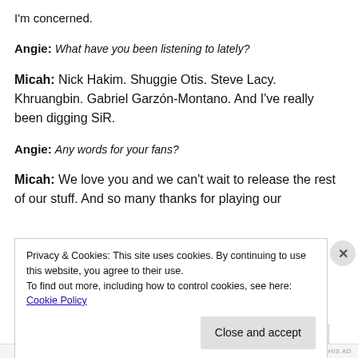I'm concerned.
Angie: What have you been listening to lately?
Micah: Nick Hakim. Shuggie Otis. Steve Lacy. Khruangbin. Gabriel Garzón-Montano. And I've really been digging SiR.
Angie: Any words for your fans?
Micah: We love you and we can't wait to release the rest of our stuff. And so many thanks for playing our
Privacy & Cookies: This site uses cookies. By continuing to use this website, you agree to their use.
To find out more, including how to control cookies, see here: Cookie Policy
Close and accept